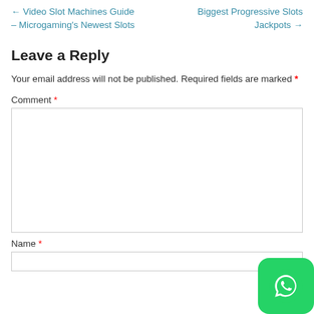← Video Slot Machines Guide – Microgaming's Newest Slots
Biggest Progressive Slots Jackpots →
Leave a Reply
Your email address will not be published. Required fields are marked *
Comment *
Name *
[Figure (logo): WhatsApp icon button (green rounded square with white phone/chat icon)]